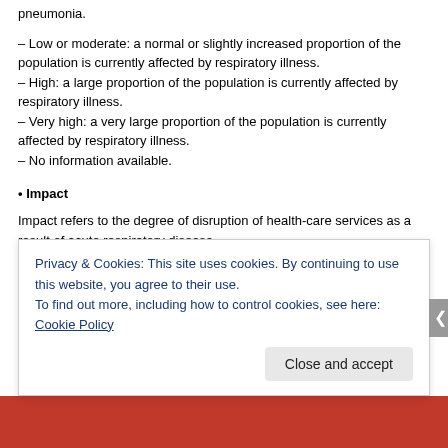pneumonia.
– Low or moderate: a normal or slightly increased proportion of the population is currently affected by respiratory illness.
– High: a large proportion of the population is currently affected by respiratory illness.
– Very high: a very large proportion of the population is currently affected by respiratory illness.
– No information available.
• Impact
Impact refers to the degree of disruption of health-care services as a result of acute respiratory disease.
– Low: demands on health-care services are not above usual levels.
– Moderate: demands on health-care services are above the usual demand levels but s
Privacy & Cookies: This site uses cookies. By continuing to use this website, you agree to their use. To find out more, including how to control cookies, see here: Cookie Policy
Close and accept